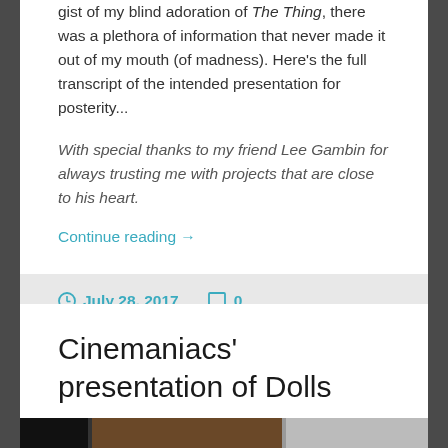gist of my blind adoration of The Thing, there was a plethora of information that never made it out of my mouth (of madness). Here's the full transcript of the intended presentation for posterity...
With special thanks to my friend Lee Gambin for always trusting me with projects that are close to his heart.
Continue reading →
July 28, 2017   0
Cinemaniacs' presentation of Dolls